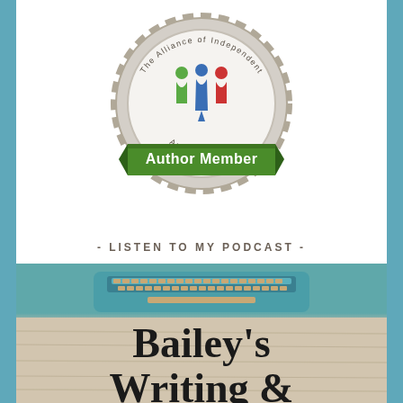[Figure (logo): The Alliance of Independent Authors Author Member badge - circular emblem with green, blue and red stylized figures with a pen, green ribbon banner saying Author Member]
- LISTEN TO MY PODCAST -
[Figure (photo): Podcast cover image showing a vintage teal typewriter on a wooden surface with text reading Bailey's Writing & [Publishing] in large bold serif font]